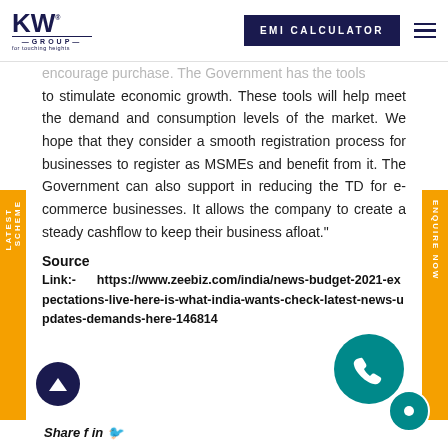KW GROUP — EMI CALCULATOR
encourage purchase. The Government has the tools to stimulate economic growth. These tools will help meet the demand and consumption levels of the market. We hope that they consider a smooth registration process for businesses to register as MSMEs and benefit from it. The Government can also support in reducing the TD for e-commerce businesses. It allows the company to create a steady cashflow to keep their business afloat."
Source
Link:- https://www.zeebiz.com/india/news-budget-2021-expectations-live-here-is-what-india-wants-check-latest-news-updates-demands-here-146814